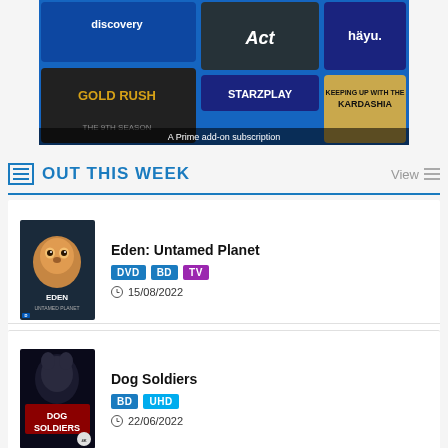[Figure (screenshot): Amazon Prime Video promotional banner showing add-on subscriptions including Discovery, Gold Rush, The Act, hayu, StarzPlay, and Keeping Up with the Kardashians. Text reads 'A Prime add-on subscription'.]
OUT THIS WEEK
[Figure (photo): Eden: Untamed Planet DVD cover showing a baby orangutan face]
Eden: Untamed Planet
DVD BD TV
15/08/2022
[Figure (photo): Dog Soldiers BD cover showing horror movie artwork]
Dog Soldiers
BD UHD
22/06/2022